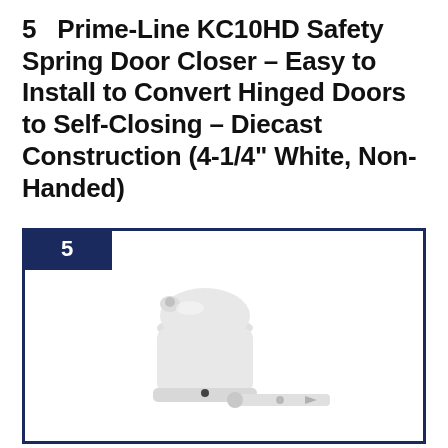5   Prime-Line KC10HD Safety Spring Door Closer – Easy to Install to Convert Hinged Doors to Self-Closing – Diecast Construction (4-1/4" White, Non-Handed)
[Figure (photo): Product listing card with navy blue border and badge showing number 5, containing a photo of a white diecast spring door closer mechanism with adjustment arm, shown against a white background.]